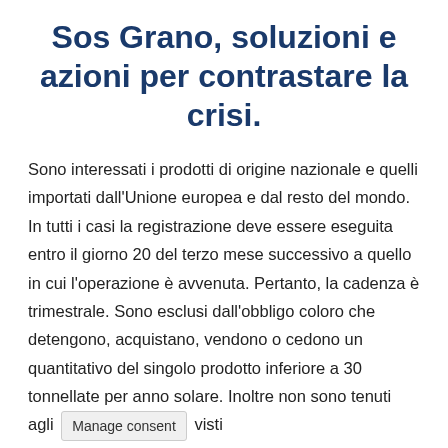Sos Grano, soluzioni e azioni per contrastare la crisi.
Sono interessati i prodotti di origine nazionale e quelli importati dall'Unione europea e dal resto del mondo. In tutti i casi la registrazione deve essere eseguita entro il giorno 20 del terzo mese successivo a quello in cui l'operazione è avvenuta. Pertanto, la cadenza è trimestrale. Sono esclusi dall'obbligo coloro che detengono, acquistano, vendono o cedono un quantitativo del singolo prodotto inferiore a 30 tonnellate per anno solare. Inoltre non sono tenuti agli [Manage consent] visti